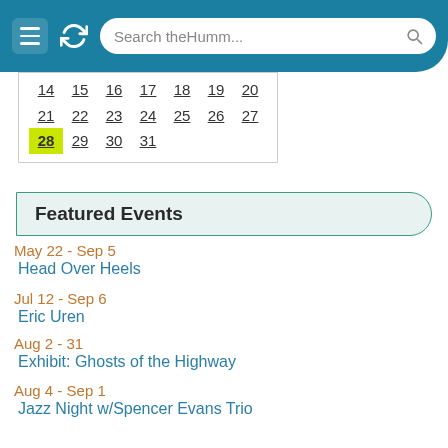Search theHumm...
14 15 16 17 18 19 20
21 22 23 24 25 26 27
28 29 30 31
Featured Events
May 22 - Sep 5
Head Over Heels
Jul 12 - Sep 6
Eric Uren
Aug 2 - 31
Exhibit: Ghosts of the Highway
Aug 4 - Sep 1
Jazz Night w/Spencer Evans Trio
Aug 20 - 28
Richard Gill: 50th Anniversary Show
Aug 27 - 28
Paint the Summer Art Show & Sale
Sep 1 - 30
Retrospective: Having Said That